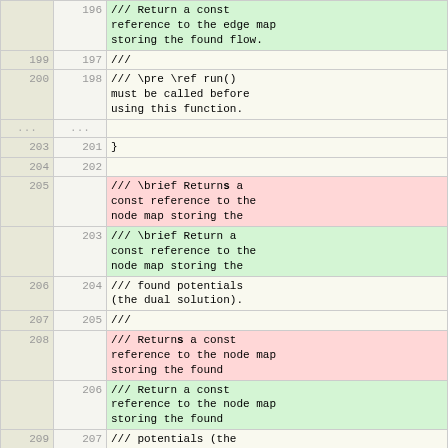| old | new | code |
| --- | --- | --- |
|  | 196 | /// Return a const reference to the edge map storing the found flow. |
| 199 | 197 | /// |
| 200 | 198 | /// \pre \ref run() must be called before using this function. |
| ... | ... |  |
| 203 | 201 | } |
| 204 | 202 |  |
| 205 |  | /// \brief Returns a const reference to the node map storing the |
|  | 203 | /// \brief Return a const reference to the node map storing the |
| 206 | 204 | /// found potentials (the dual solution). |
| 207 | 205 | /// |
| 208 |  | /// Returns a const reference to the node map storing the found |
|  | 206 | /// Return a const reference to the node map storing the found |
| 209 | 207 | /// potentials (the dual solution). |
| 210 | 208 | /// |
| ... | ... |  |
| 214 | 212 | } |
| 215 | 213 |  |
| 216 |  | /// \brief Returns the flow on the given edge. |